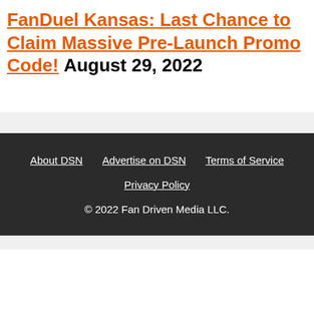FanDuel Kansas: Last Chance to Claim Massive Pre-Launch Promo Code! August 29, 2022
About DSN  Advertise on DSN  Terms of Service  Privacy Policy  © 2022 Fan Driven Media LLC.